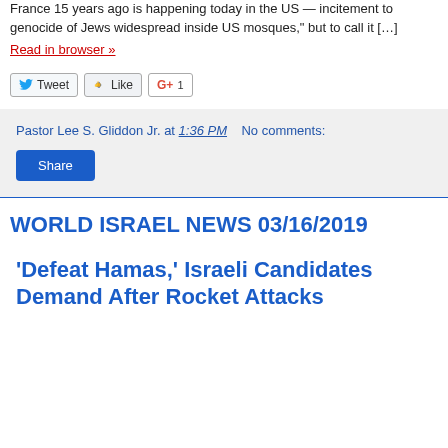France 15 years ago is happening today in the US — incitement to genocide of Jews widespread inside US mosques," but to call it […]
Read in browser »
[Figure (other): Social sharing buttons: Tweet, Like, G+1]
Pastor Lee S. Gliddon Jr. at 1:36 PM   No comments:
Share
WORLD ISRAEL NEWS 03/16/2019
'Defeat Hamas,' Israeli Candidates Demand After Rocket Attacks